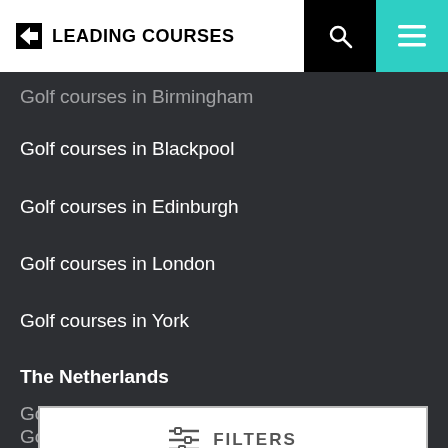LEADING COURSES
Golf courses in Birmingham
Golf courses in Blackpool
Golf courses in Edinburgh
Golf courses in London
Golf courses in York
The Netherlands
Golf courses in Amsterdam
Golf courses in Utrecht
FILTERS